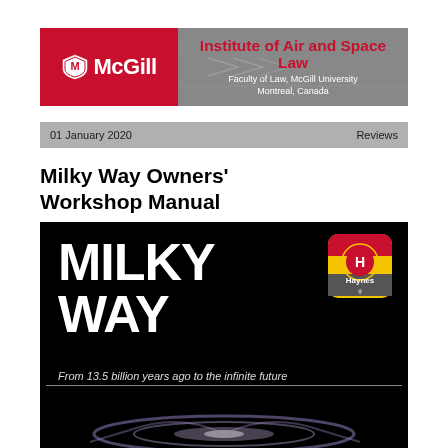[Figure (logo): McGill Institute of Air and Space Law banner header with red McGill logo on left and institute name on grey background on right, with text: Institute of Air and Space Law, Faculty of Law, McGill University, Montreal, Canada]
01 January 2020    Reviews
Milky Way Owners' Workshop Manual
[Figure (photo): Book cover of 'Milky Way Owners' Workshop Manual' by Haynes. Black background with large white bold text 'MILKY WAY', Haynes logo badge in top right, italic text 'From 13.5 billion years ago to the infinite future', yellow bold text 'Owners' Workshop Manual', and galaxy spiral image at bottom.]